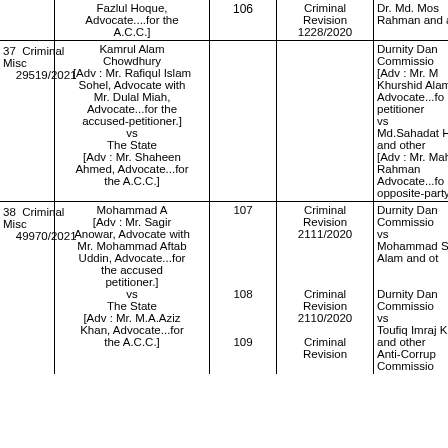| No. | Case/Party | Sl. | Case Ref | Opposite Party |
| --- | --- | --- | --- | --- |
|  | Fazlul Hoque, Advocate....for the A.C.C.] | 106 | Criminal Revision 1228/2020 | Dr. Md. Mos Rahman and a |
| 37 | Criminal Misc 29519/2021
Kamrul Alam Chowdhury
[Adv : Mr. Rafiqul Islam Sohel, Advocate with Mr. Dulal Miah, Advocate...for the accused-petitioner.]
vs
The State
[Adv : Mr. Shaheen Ahmed, Advocate...for the A.C.C.] |  |  | Durnity Dar Commissio [Adv : Mr. M Khurshid Alam Advocate...fo petitioner vs Md.Sahadat H and other [Adv : Mr. Mah Rahman Advocate...fo opposite-party |
| 38 | Criminal Misc 49970/2021
Mohammad Ali
[Adv : Mr. Sagir Anowar, Advocate with Mr. Mohammad Aftab Uddin, Advocate...for the accused petitioner.]
vs
The State
[Adv : Mr. M.A.Aziz Khan, Advocate...for the A.C.C.] | 107
108
109 | Criminal Revision 2111/2020
Criminal Revision 2110/2020
Criminal Revision | Durnity Dan Commissio vs Mohammad S Alam and ot
Durnity Dan Commissio vs Toufiq Imraj K and other
Anti-Corrup Commissio |